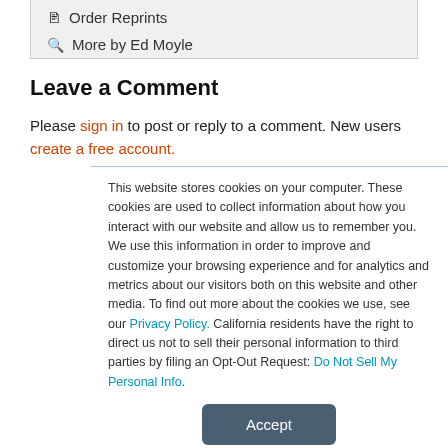Order Reprints
More by Ed Moyle
Leave a Comment
Please sign in to post or reply to a comment. New users create a free account.
This website stores cookies on your computer. These cookies are used to collect information about how you interact with our website and allow us to remember you. We use this information in order to improve and customize your browsing experience and for analytics and metrics about our visitors both on this website and other media. To find out more about the cookies we use, see our Privacy Policy. California residents have the right to direct us not to sell their personal information to third parties by filing an Opt-Out Request: Do Not Sell My Personal Info.
Accept